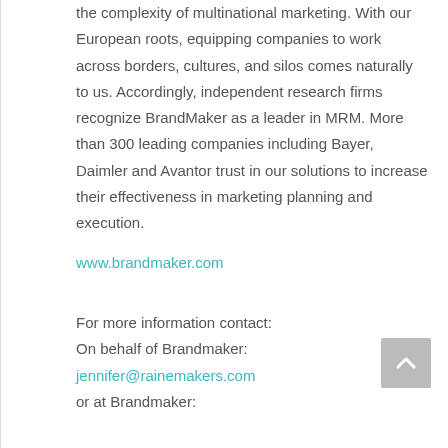the complexity of multinational marketing. With our European roots, equipping companies to work across borders, cultures, and silos comes naturally to us. Accordingly, independent research firms recognize BrandMaker as a leader in MRM. More than 300 leading companies including Bayer, Daimler and Avantor trust in our solutions to increase their effectiveness in marketing planning and execution.
www.brandmaker.com
For more information contact:
On behalf of Brandmaker:
jennifer@rainemakers.com
or at Brandmaker: